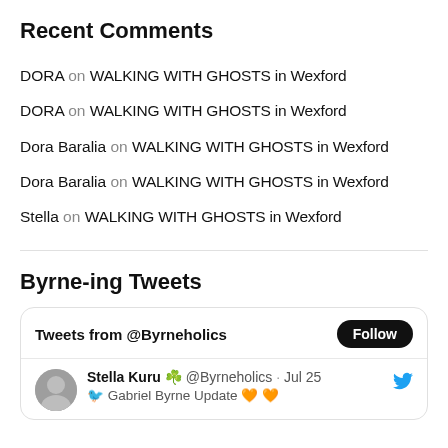Recent Comments
DORA on WALKING WITH GHOSTS in Wexford
DORA on WALKING WITH GHOSTS in Wexford
Dora Baralia on WALKING WITH GHOSTS in Wexford
Dora Baralia on WALKING WITH GHOSTS in Wexford
Stella on WALKING WITH GHOSTS in Wexford
Byrne-ing Tweets
[Figure (screenshot): Twitter/X embedded widget showing 'Tweets from @Byrneholics' with a Follow button, and a tweet from Stella Kuru @Byrneholics dated Jul 25 with partial text visible.]